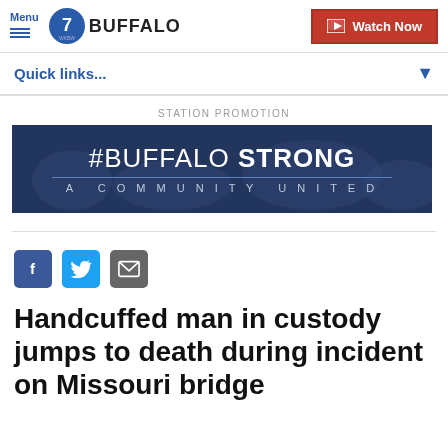Menu | 7 WKBW BUFFALO | Watch Now
Quick links...
STATION PROMOTION
[Figure (illustration): Dark blue banner with crowd background showing '#BUFFALO STRONG – A COMMUNITY UNITED']
[Figure (infographic): Social sharing icons: Facebook (blue), Twitter (blue bird), Email (grey envelope)]
Handcuffed man in custody jumps to death during incident on Missouri bridge